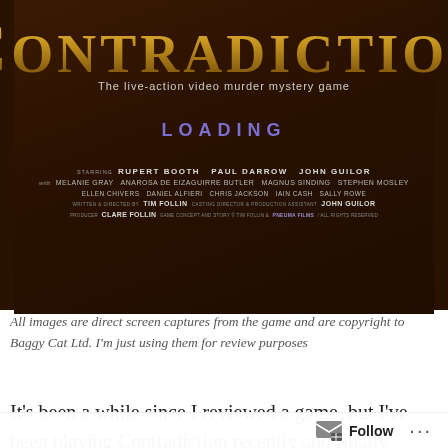[Figure (screenshot): Loading screen of the game 'Contradiction – The live-action video murder mystery game'. Dark brown background with gold stylized title 'CONTRADICTION', subtitle 'The live-action video murder mystery game', purple 'LOADING' text, and film-style credits listing starring Rupert Booth, Paul Darrow, John Guilor, with Melanie Gray, Anarosa De Eizaguirre Butler, Magnus Sinding, Stephen Mosley, Ellen Chivers, Daniel Alfieri, Chris Jackson, Iain Cash, Sally Rowe. Written & Directed by Tim Follin. Casting Director & Production Assistant John Guilor. Producer Clare Follin. Game Concept and Story © Tim Follin & Pneuma Films / All Rights Reserved.]
All images are direct screen captures from the game and are copyright to Baggy Cat Ltd. I'm just using them for review purposes
It's been a while since I reviewed a game, but I've been playing Contradiction recently and finally finished it. It probably took me longer than it should have, there was plenty